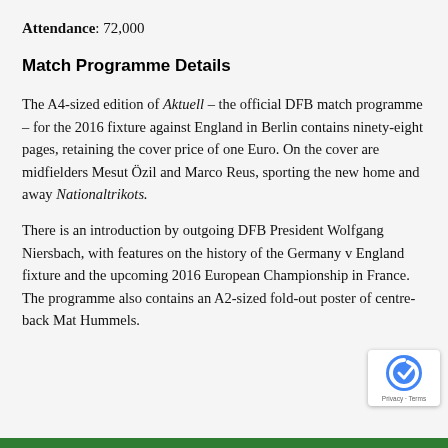Attendance: 72,000
Match Programme Details
The A4-sized edition of Aktuell – the official DFB match programme – for the 2016 fixture against England in Berlin contains ninety-eight pages, retaining the cover price of one Euro. On the cover are midfielders Mesut Özil and Marco Reus, sporting the new home and away Nationaltrikots.
There is an introduction by outgoing DFB President Wolfgang Niersbach, with features on the history of the Germany v England fixture and the upcoming 2016 European Championship in France. The programme also contains an A2-sized fold-out poster of centre-back Mat Hummels.